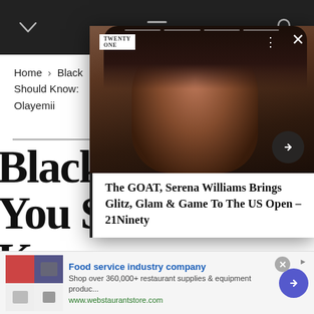Navigation bar with chevron, hamburger menu, and search icons
Home > Black [Women] You Should Know: Olayemii
Black [Women] You Should Know:
[Figure (photo): Popup overlay showing a photo of Serena Williams at a glamorous event, with a close (X) button, three-dot menu, arrow navigation button, and a 21Ninety logo. A text box at the bottom reads: The GOAT, Serena Williams Brings Glitz, Glam & Game To The US Open – 21Ninety]
The GOAT, Serena Williams Brings Glitz, Glam & Game To The US Open – 21Ninety
[Figure (screenshot): Advertisement banner for Food service industry company. Shows product images. Text: Food service industry company. Shop over 360,000+ restaurant supplies & equipment produc... www.webstaurantstore.com]
Food service industry company
Shop over 360,000+ restaurant supplies & equipment produc...
www.webstaurantstore.com